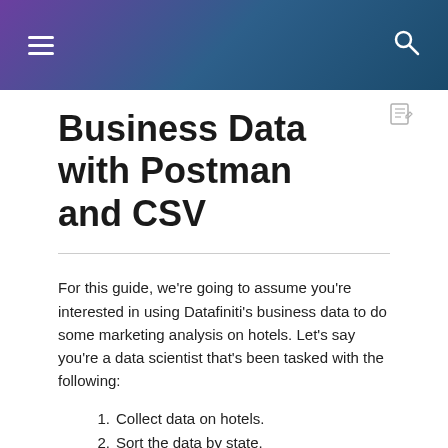≡  🔍
Business Data with Postman and CSV
For this guide, we're going to assume you're interested in using Datafiniti's business data to do some marketing analysis on hotels. Let's say you're a data scientist that's been tasked with the following:
1. Collect data on hotels.
2. Sort the data by state.
3. Find which states have the most hotels.
Your environment and data needs: